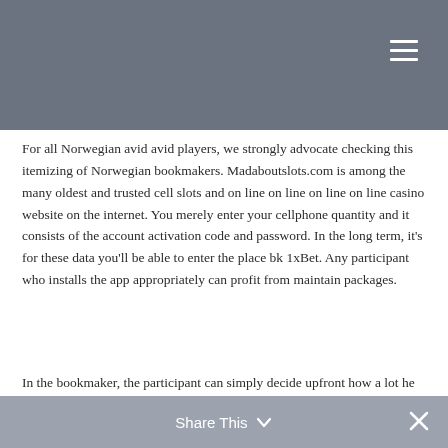For all Norwegian avid avid players, we strongly advocate checking this itemizing of Norwegian bookmakers. Madaboutslots.com is among the many oldest and trusted cell slots and on line on line on line on line casino website on the internet. You merely enter your cellphone quantity and it consists of the account activation code and password. In the long term, it’s for these data you’ll be able to enter the place bk 1xBet. Any participant who installs the app appropriately can profit from maintain packages.
In the bookmaker, the participant can simply decide upfront how a lot he would possibly acquire if the result’s definitely correctly guessed. Within a sweepstake, a participant’ h cash circulate depends upon the whole amount of bets and the contribution
Share This